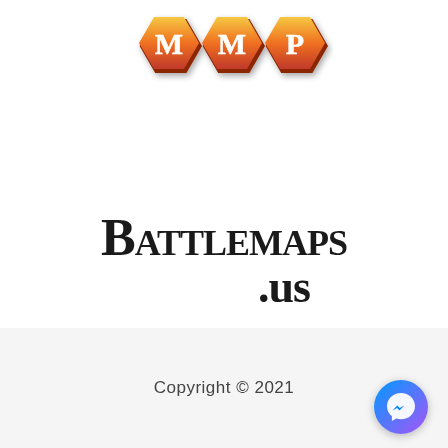[Figure (logo): MMP hexagon logo with three orange/red hexagons containing white letters M, M, P]
[Figure (logo): Battlemaps.us logo in gothic/old-english black lettering]
Copyright © 2021